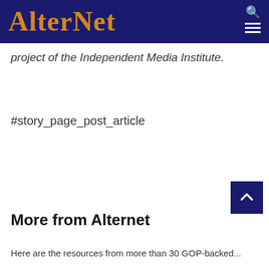AlterNet
project of the Independent Media Institute.
#story_page_post_article
More from Alternet
Here are the resources from more than 30 GOP-backed...